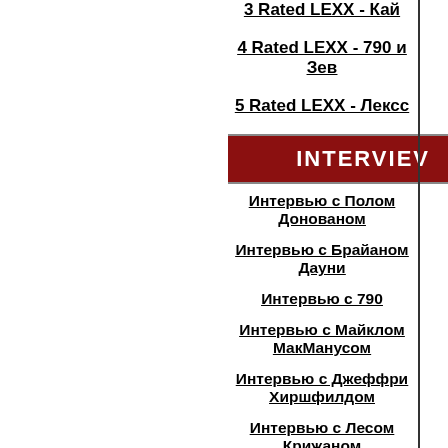3 Rated LEXX - Кай
4 Rated LEXX - 790 и Зев
5 Rated LEXX - Лексс
INTERVIEWS
Интервью с Полом Донованом
Интервью с Брайаном Дауни
Интервью с 790
Интервью с Майклом МакМанусом
Интервью с Джеффри Хиршфилдом
Интервью с Лесом Крижаном
Интервью со Стюартом Даудом
Интервью с Петером Гаскиным
Интервью с Алексом Басби